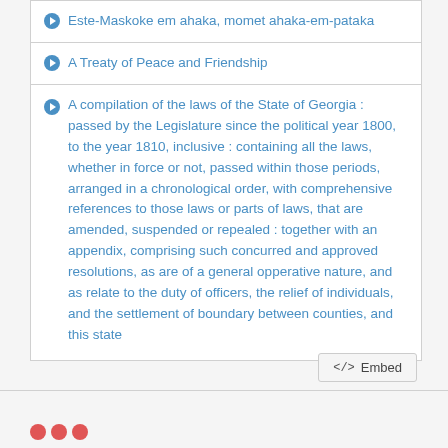Este-Maskoke em ahaka, momet ahaka-em-pataka
A Treaty of Peace and Friendship
A compilation of the laws of the State of Georgia : passed by the Legislature since the political year 1800, to the year 1810, inclusive : containing all the laws, whether in force or not, passed within those periods, arranged in a chronological order, with comprehensive references to those laws or parts of laws, that are amended, suspended or repealed : together with an appendix, comprising such concurred and approved resolutions, as are of a general opperative nature, and as relate to the duty of officers, the relief of individuals, and the settlement of boundary between counties, and this state
</>  Embed
[Figure (other): Three red circle dots at bottom left]